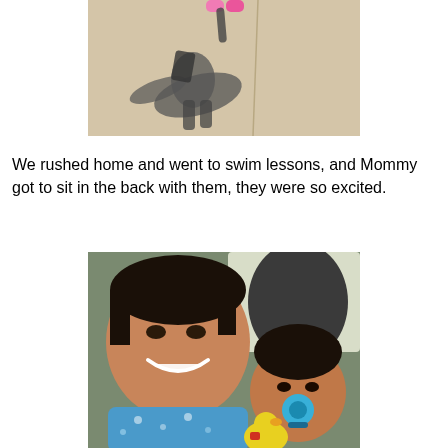[Figure (photo): Top-down photo showing a child's shadow on a sidewalk with pink shoes visible at the top, cast on concrete pavement in bright sunlight.]
We rushed home and went to swim lessons, and Mommy got to sit in the back with them, they were so excited.
[Figure (photo): Selfie photo of a smiling Asian woman with short hair wearing a blue floral sleeveless top, seated in the back of a car next to a young toddler with a blue pacifier holding a yellow toy rubber duck.]